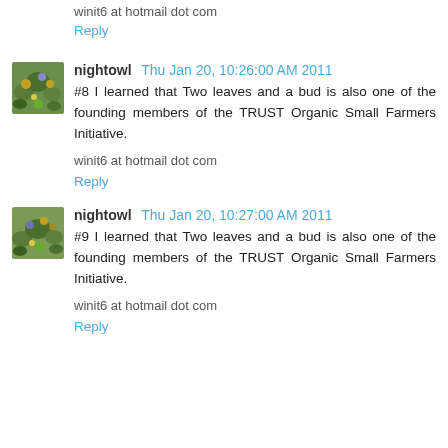winit6 at hotmail dot com
Reply
nightowl  Thu Jan 20, 10:26:00 AM 2011
#8 I learned that Two leaves and a bud is also one of the founding members of the TRUST Organic Small Farmers Initiative.
winit6 at hotmail dot com
Reply
nightowl  Thu Jan 20, 10:27:00 AM 2011
#9 I learned that Two leaves and a bud is also one of the founding members of the TRUST Organic Small Farmers Initiative.
winit6 at hotmail dot com
Reply